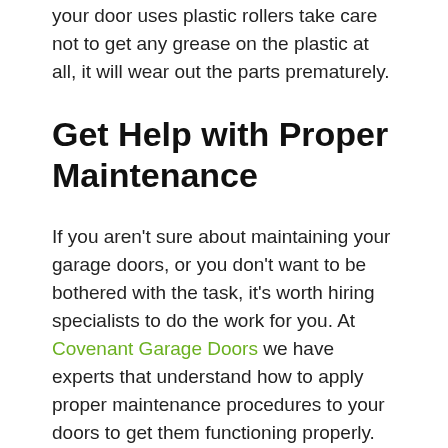your door uses plastic rollers take care not to get any grease on the plastic at all, it will wear out the parts prematurely.
Get Help with Proper Maintenance
If you aren't sure about maintaining your garage doors, or you don't want to be bothered with the task, it's worth hiring specialists to do the work for you. At Covenant Garage Doors we have experts that understand how to apply proper maintenance procedures to your doors to get them functioning properly. This takes time and effort to do, but specialists can make quick work of standard maintenance efforts and restore your doors to proper function once again so its important to get help with garage